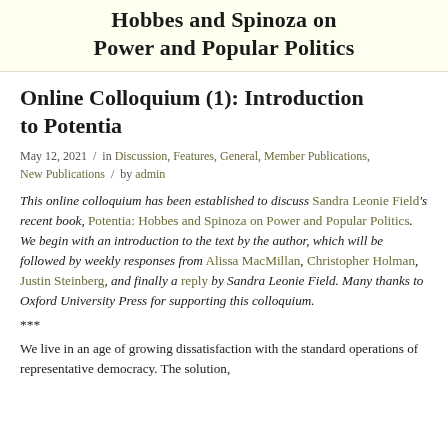Hobbes and Spinoza on Power and Popular Politics
Online Colloquium (1): Introduction to Potentia
May 12, 2021 / in Discussion, Features, General, Member Publications, New Publications / by admin
This online colloquium has been established to discuss Sandra Leonie Field's recent book, Potentia: Hobbes and Spinoza on Power and Popular Politics. We begin with an introduction to the text by the author, which will be followed by weekly responses from Alissa MacMillan, Christopher Holman, Justin Steinberg, and finally a reply by Sandra Leonie Field. Many thanks to Oxford University Press for supporting this colloquium.
***
We live in an age of growing dissatisfaction with the standard operations of representative democracy. The solution,